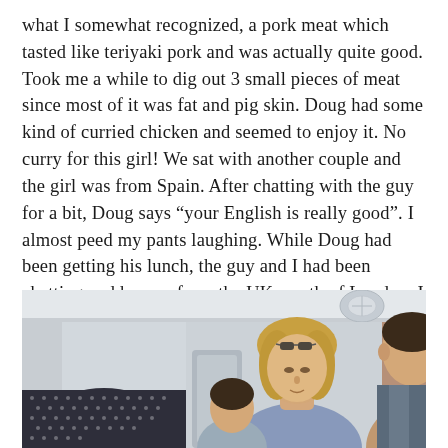what I somewhat recognized, a pork meat which tasted like teriyaki pork and was actually quite good. Took me a while to dig out 3 small pieces of meat since most of it was fat and pig skin. Doug had some kind of curried chicken and seemed to enjoy it. No curry for this girl! We sat with another couple and the girl was from Spain. After chatting with the guy for a bit, Doug says “your English is really good”. I almost peed my pants laughing. While Doug had been getting his lunch, the guy and I had been chatting and he was from the UK, south of London. I hope his English is good. Doug was thinking that they were both from Spain.
[Figure (photo): Photo taken inside an airplane cabin showing passengers seated. On the left is a person wearing a dark dotted/patterned hat. In the center-right area are two people visible, a woman with sunglasses on her head and blonde hair, and a man to the right. The cabin ceiling and overhead panels are visible at the top.]